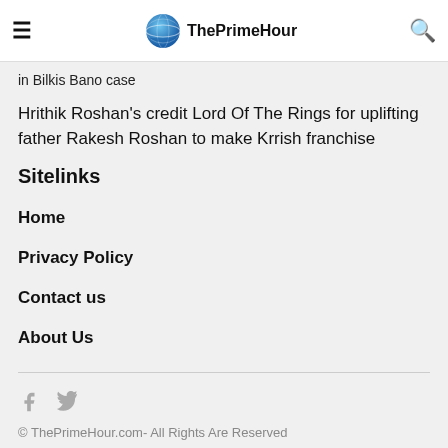ThePrimeHour
in Bilkis Bano case
Hrithik Roshan's credit Lord Of The Rings for uplifting father Rakesh Roshan to make Krrish franchise
Sitelinks
Home
Privacy Policy
Contact us
About Us
© ThePrimeHour.com- All Rights Are Reserved